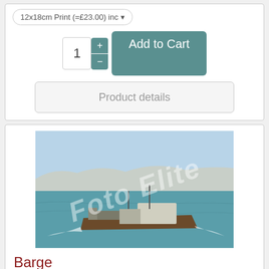12x18cm Print (=£23.00) inc
1 + - Add to Cart
Product details
[Figure (photo): A barge vessel sailing on open water with cliffs/hills visible in the background. The image has a 'Foto Elite' watermark overlaid diagonally.]
Barge
Image Ref: 63955
Vessel Type: Barge, IMO Number: , Gross Registered Tonnage: , Year Built: